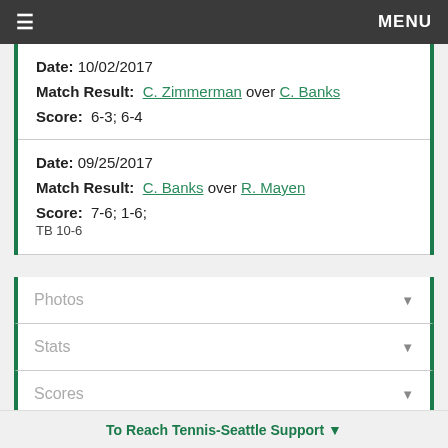≡  MENU
Date: 10/02/2017
Match Result: C. Zimmerman over C. Banks
Score: 6-3; 6-4
Date: 09/25/2017
Match Result: C. Banks over R. Mayen
Score: 7-6; 1-6;
TB 10-6
Photos ▼
Stats ▼
Scores ▼
Rivalries ▼
To Reach Tennis-Seattle Support ▼